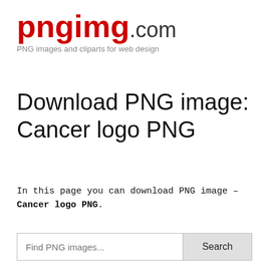pngimg.com
PNG images and cliparts for web design
Download PNG image: Cancer logo PNG
In this page you can download PNG image – Cancer logo PNG.
Find PNG images... Search